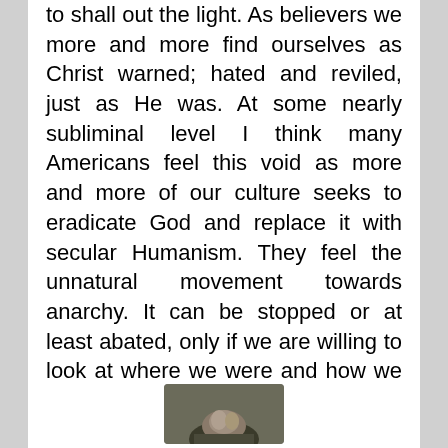to shall out the light. As believers we more and more find ourselves as Christ warned; hated and reviled, just as He was. At some nearly subliminal level I think many Americans feel this void as more and more of our culture seeks to eradicate God and replace it with secular Humanism. They feel the unnatural movement towards anarchy. It can be stopped or at least abated, only if we are willing to look at where we were and how we got here. This book attempts to retrace those steps leading to this amoral abyss.
[Figure (photo): Partial photograph visible at the bottom of the page, cropped]